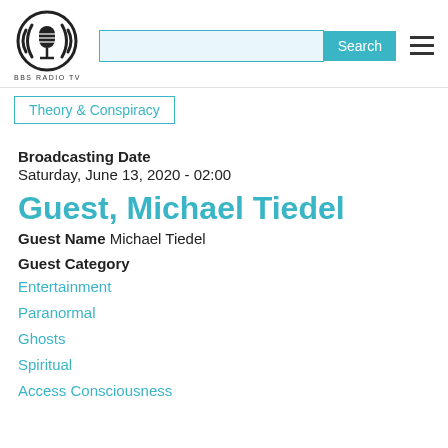[Figure (logo): BBS Radio TV circular logo with microphone graphic]
BBS RADIO TV
Search
Theory & Conspiracy
Broadcasting Date
Saturday, June 13, 2020 - 02:00
Guest, Michael Tiedel
Guest Name Michael Tiedel
Guest Category
Entertainment
Paranormal
Ghosts
Spiritual
Access Consciousness